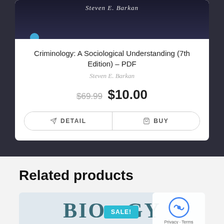[Figure (screenshot): Book cover image for Criminology: A Sociological Understanding, dark background with author name Steven E. Barkan]
Criminology: A Sociological Understanding (7th Edition) – PDF
Steven E. Barkan
$69.99 $10.00
DETAIL   BUY
Related products
[Figure (screenshot): Partially visible book cover with the word BIOLOGY in large teal letters and a SALE! badge in teal]